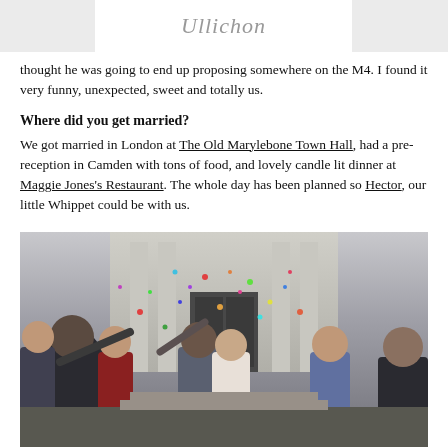Ullichon
thought he was going to end up proposing somewhere on the M4. I found it very funny, unexpected, sweet and totally us.
Where did you get married?
We got married in London at The Old Marylebone Town Hall, had a pre-reception in Camden with tons of food, and lovely candle lit dinner at Maggie Jones's Restaurant. The whole day has been planned so Hector, our little Whippet could be with us.
[Figure (photo): Wedding couple exiting a building with confetti being thrown by guests. The couple stands in the center laughing while surrounded by family and friends in front of a stone building entrance.]